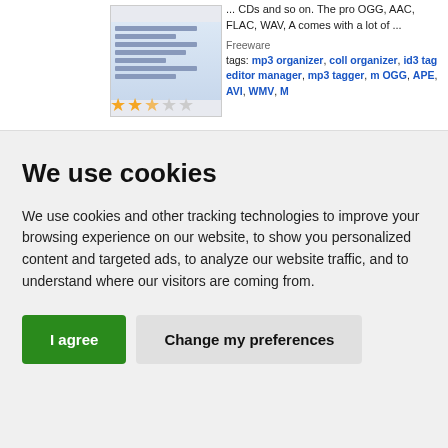[Figure (screenshot): Screenshot of a music organizer/tagger application with star rating (2.5 out of 5 stars)]
... CDs and so on. The pro OGG, AAC, FLAC, WAV, A comes with a lot of ...
Freeware
tags: mp3 organizer, coll organizer, id3 tag editor manager, mp3 tagger, m OGG, APE, AVI, WMV, M
We use cookies
We use cookies and other tracking technologies to improve your browsing experience on our website, to show you personalized content and targeted ads, to analyze our website traffic, and to understand where our visitors are coming from.
I agree   Change my preferences